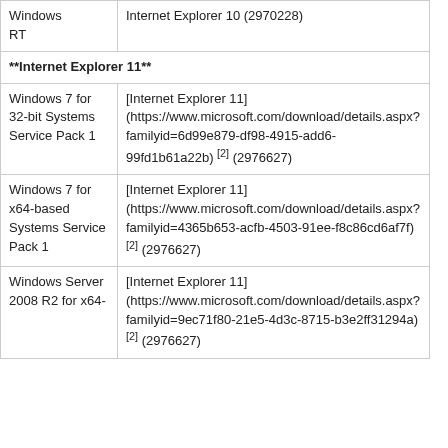| Windows RT | Internet Explorer 10 (2970228) |
| **Internet Explorer 11** |  |
| Windows 7 for 32-bit Systems Service Pack 1 | [Internet Explorer 11] (https://www.microsoft.com/download/details.aspx?familyid=6d99e879-df98-4915-add6-99fd1b61a22b) [2] (2976627) |
| Windows 7 for x64-based Systems Service Pack 1 | [Internet Explorer 11] (https://www.microsoft.com/download/details.aspx?familyid=4365b653-acfb-4503-91ee-f8c86cd6af7f) [2] (2976627) |
| Windows Server 2008 R2 for x64- | [Internet Explorer 11] (https://www.microsoft.com/download/details.aspx?familyid=9ec71f80-21e5-4d3c-8715-b3e2ff31294a) [2] (2976627) |